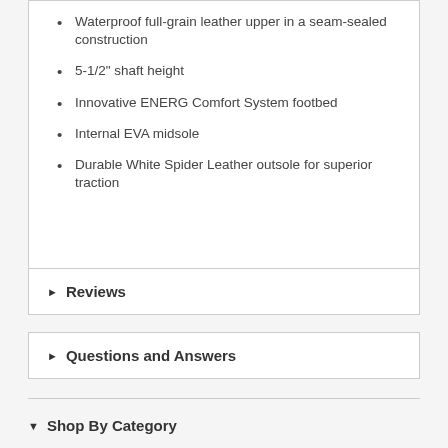Waterproof full-grain leather upper in a seam-sealed construction
5-1/2" shaft height
Innovative ENERG Comfort System footbed
Internal EVA midsole
Durable White Spider Leather outsole for superior traction
Reviews
Questions and Answers
Shop By Category